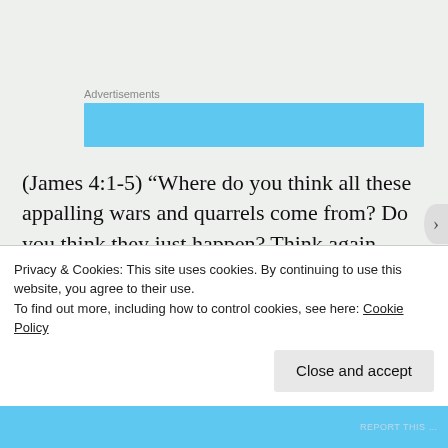[Figure (other): Advertisements label above a blue rectangular banner ad block]
(James 4:1-5) “Where do you think all these appalling wars and quarrels come from? Do you think they just happen? Think again. They come about because you want your own way, and fight for it deep inside yourselves. You lust for what you don’t have and are willing to kill to get it. You want what
Privacy & Cookies: This site uses cookies. By continuing to use this website, you agree to their use.
To find out more, including how to control cookies, see here: Cookie Policy
Close and accept